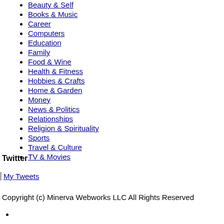Beauty & Self
Books & Music
Career
Computers
Education
Family
Food & Wine
Health & Fitness
Hobbies & Crafts
Home & Garden
Money
News & Politics
Relationships
Religion & Spirituality
Sports
Travel & Culture
TV & Movies
Twitter
My Tweets
Copyright (c) Minerva Webworks LLC All Rights Reserved